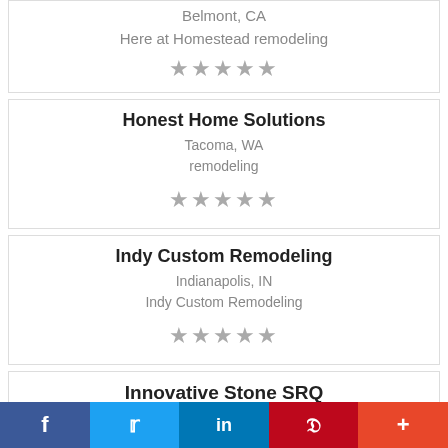Belmont, CA
Here at Homestead remodeling
★★★★★
Honest Home Solutions
Tacoma, WA
remodeling
★★★★★
Indy Custom Remodeling
Indianapolis, IN
Indy Custom Remodeling
★★★★★
Innovative Stone SRQ
Sarasota, FL...
f  🐦  in  P  +